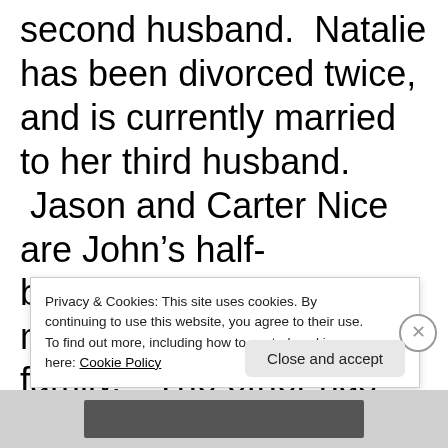second husband.  Natalie has been divorced twice, and is currently married to her third husband.  Jason and Carter Nice are John's half-brothers.*  One is married and has a family.*  The other has never been married, has a son, and is separated from his son's mother.*
Privacy & Cookies: This site uses cookies. By continuing to use this website, you agree to their use.
To find out more, including how to control cookies, see here: Cookie Policy